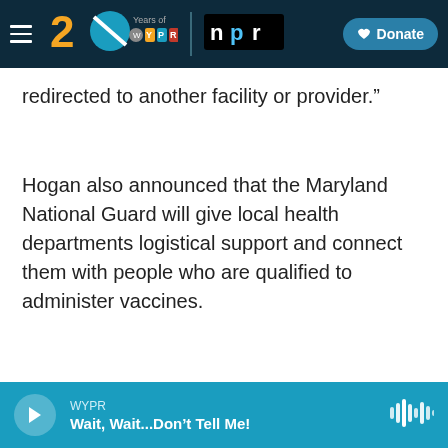WYPR 20 Years — NPR | Donate
redirected to another facility or provider.”
Hogan also announced that the Maryland National Guard will give local health departments logistical support and connect them with people who are qualified to administer vaccines.
And the governor announced some changes to who can get vaccines when.
WYPR — Wait, Wait...Don’t Tell Me!